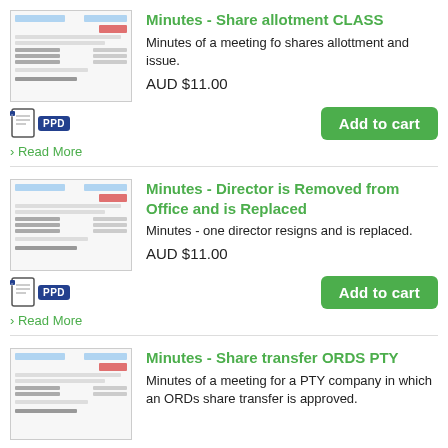[Figure (illustration): Thumbnail preview of a document form with blue header bars and red highlights]
Minutes - Share allotment CLASS
Minutes of a meeting fo shares allottment and issue.
AUD $11.00
[Figure (logo): PPD icon badge with document icon]
Add to cart
› Read More
[Figure (illustration): Thumbnail preview of a document form with blue header bars and red highlights]
Minutes - Director is Removed from Office and is Replaced
Minutes - one director resigns and is replaced.
AUD $11.00
[Figure (logo): PPD icon badge with document icon]
Add to cart
› Read More
[Figure (illustration): Thumbnail preview of a document form with blue header bars and red highlights]
Minutes - Share transfer ORDS PTY
Minutes of a meeting for a PTY company in which an ORDs share transfer is approved.